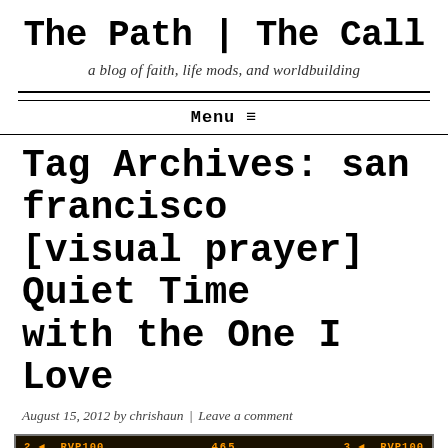The Path | The Call
a blog of faith, life mods, and worldbuilding
Menu ≡
Tag Archives: san francisco [visual prayer] Quiet Time with the One I Love
August 15, 2012 by chrishaun  |  Leave a comment
[Figure (photo): Film strip header of a photo showing a blue vertical bar and papers/documents on a light blue background, with orange film metadata labels: '2 ◄ RVP100' on left, '465' in center, '3 ◄ RVP100' on right]